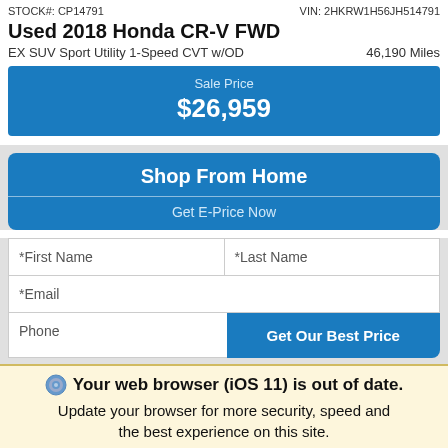STOCK#: CP14791
VIN: 2HKRW1H56JH514791
Used 2018 Honda CR-V FWD
EX SUV Sport Utility 1-Speed CVT w/OD
46,190 Miles
Sale Price $26,959
Shop From Home
Get E-Price Now
*First Name
*Last Name
*Email
Phone
Get Our Best Price
Your web browser (iOS 11) is out of date. Update your browser for more security, speed and the best experience on this site.
Update browser
Ignore